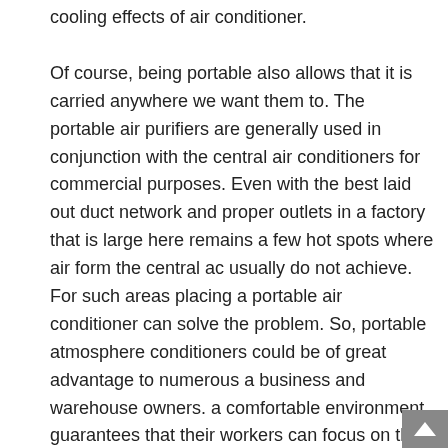cooling effects of air conditioner.
Of course, being portable also allows that it is carried anywhere we want them to. The portable air purifiers are generally used in conjunction with the central air conditioners for commercial purposes. Even with the best laid out duct network and proper outlets in a factory that is large here remains a few hot spots where air form the central ac usually do not achieve. For such areas placing a portable air conditioner can solve the problem. So, portable atmosphere conditioners could be of great advantage to numerous a business and warehouse owners. a comfortable environment guarantees that their workers can focus on their work and never worry about other basic things.
Portable air conditioners are ideal for domestic purposes also. Then you can go for portable air conditioners if you have a small family and most of the rooms in your hou